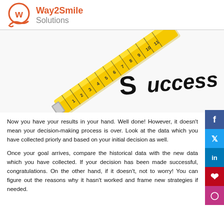Way2Smile Solutions
[Figure (photo): A yellow measuring tape extended diagonally with the word 'Success' written in large black bold letters along its length, on a white background.]
Now you have your results in your hand. Well done! However, it doesn't mean your decision-making process is over. Look at the data which you have collected priorly and based on your initial decision as well.
Once your goal arrives, compare the historical data with the new data which you have collected. If your decision has been made successful, congratulations. On the other hand, if it doesn't, not to worry! You can figure out the reasons why it hasn't worked and frame new strategies if needed.